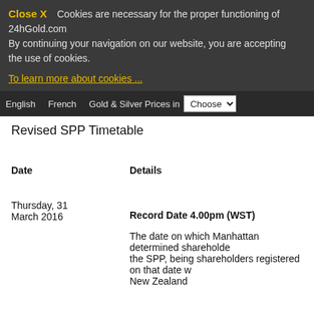Close X  Cookies are necessary for the proper functioning of 24hGold.com By continuing your navigation on our website, you are accepting the use of cookies.
To learn more about cookies ...
English  French  Gold & Silver Prices in  Choose
Revised SPP Timetable
| Date | Details |
| --- | --- |
| Thursday, 31 March 2016 | Record Date 4.00pm (WST)
The date on which Manhattan determined shareholders eligible to participate in the SPP, being shareholders registered on that date with addresses in Australia and New Zealand |
| Friday, 1 April 2016 | SPP Announced to ASX |